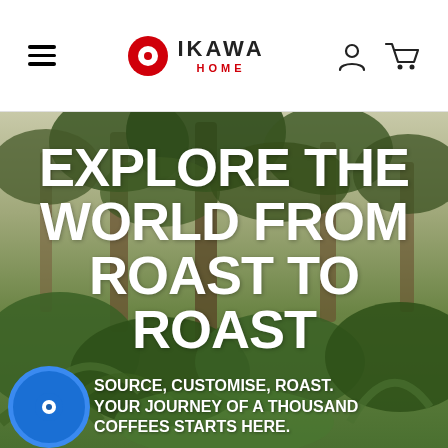OIKAWA HOME – navigation header with hamburger menu, logo, account and cart icons
[Figure (photo): Lush tropical forest/coffee plantation with tall trees and broad-leaf plants, muted green foliage against a grey-green sky]
EXPLORE THE WORLD FROM ROAST TO ROAST
SOURCE, CUSTOMISE, ROAST. YOUR JOURNEY OF A THOUSAND COFFEES STARTS HERE.